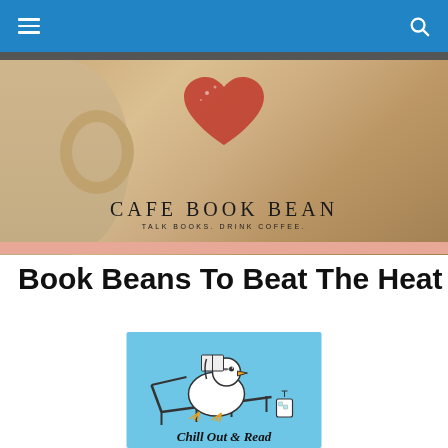[Figure (photo): Cafe Book Bean banner image showing a coffee cup with a red heart latte art design. Text reads: CAFE BOOK BEAN — TALK BOOKS. DRINK COFFEE.]
Book Beans To Beat The Heat I
[Figure (illustration): Cartoon illustration on light blue background of a bird/penguin-like character relaxing on a lounge chair reading a book with a cold drink nearby. Text at bottom reads: Chill Out & Read]